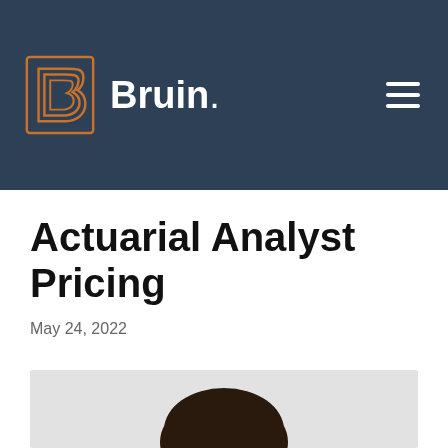[Figure (logo): Bruin company logo with orange outlined B letter and white 'Bruin.' text on dark navy background with hamburger menu icon]
Actuarial Analyst Pricing
May 24, 2022
[Figure (photo): Black and white photo of a person, partially visible showing top of head with dark hair]